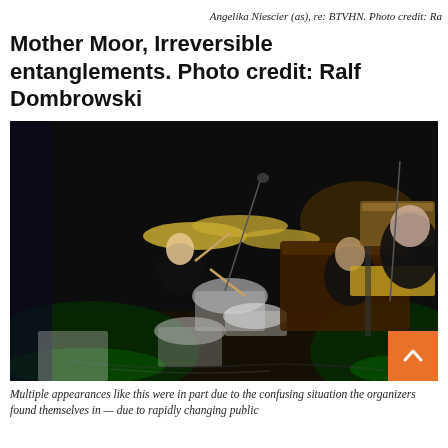Angelika Niescier (as), re: BTVHN. Photo credit: Ra
Mother Moor, Irreversible entanglements. Photo credit: Ralf Dombrowski
[Figure (photo): Live music performance on stage. Three musicians in dark clothing performing; left musician playing drums with cymbals, center musician at a piano/keyboard instrument, right musician at an electronic keyboard setup. Stage lighting is dark with green and amber accents.]
Multiple appearances like this were in part due to the confusing situation the organizers found themselves in — due to rapidly changing public